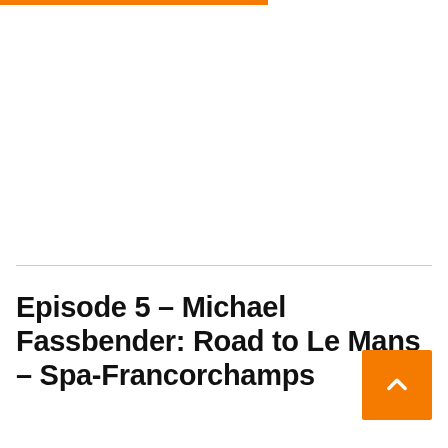Episode 5 – Michael Fassbender: Road to Le Mans – Spa-Francorchamps